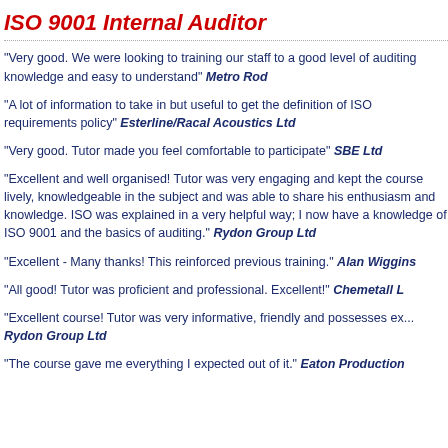ISO 9001 Internal Auditor
"Very good. We were looking to training our staff to a good level of auditing knowledge and easy to understand" Metro Rod
"A lot of information to take in but useful to get the definition of ISO requirements policy" Esterline/Racal Acoustics Ltd
"Very good. Tutor made you feel comfortable to participate" SBE Ltd
"Excellent and well organised! Tutor was very engaging and kept the course lively, knowledgeable in the subject and was able to share his enthusiasm and knowledge. ISO was explained in a very helpful way; I now have a knowledge of ISO 9001 and the basics of auditing." Rydon Group Ltd
"Excellent - Many thanks! This reinforced previous training." Alan Wiggins
"All good! Tutor was proficient and professional. Excellent!" Chemetall L
"Excellent course! Tutor was very informative, friendly and possesses ex... Rydon Group Ltd
"The course gave me everything I expected out of it." Eaton Production